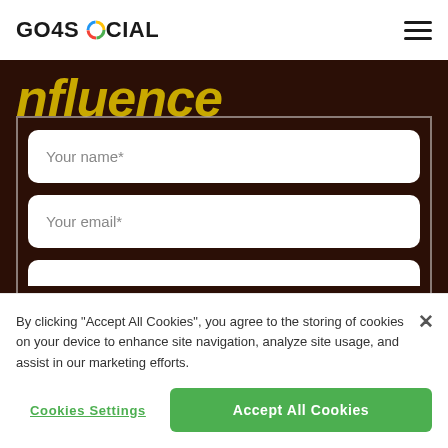GO4SOCIAL
[Figure (screenshot): Dark hero background with partially visible italic yellow text 'Influence' and a form overlay with fields 'Your name*' and 'Your email*']
By clicking "Accept All Cookies", you agree to the storing of cookies on your device to enhance site navigation, analyze site usage, and assist in our marketing efforts.
Cookies Settings
Accept All Cookies